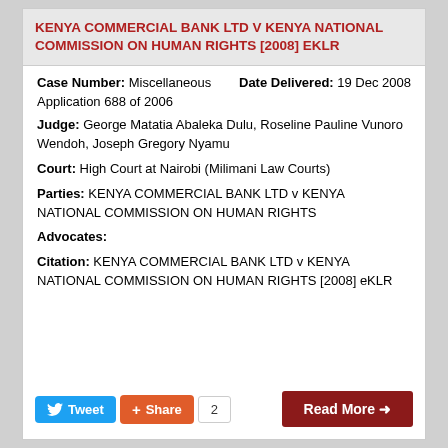KENYA COMMERCIAL BANK LTD V KENYA NATIONAL COMMISSION ON HUMAN RIGHTS [2008] EKLR
Case Number: Miscellaneous Application 688 of 2006   Date Delivered: 19 Dec 2008
Judge: George Matatia Abaleka Dulu, Roseline Pauline Vunoro Wendoh, Joseph Gregory Nyamu
Court: High Court at Nairobi (Milimani Law Courts)
Parties: KENYA COMMERCIAL BANK LTD v KENYA NATIONAL COMMISSION ON HUMAN RIGHTS
Advocates:
Citation: KENYA COMMERCIAL BANK LTD v KENYA NATIONAL COMMISSION ON HUMAN RIGHTS [2008] eKLR